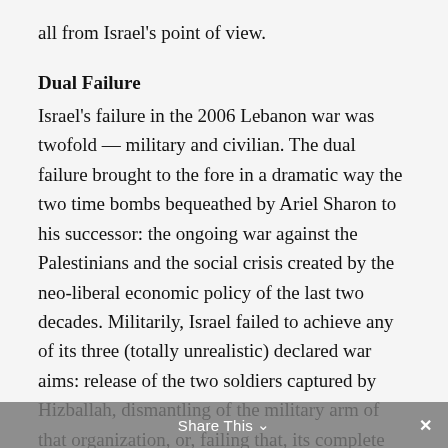all from Israel's point of view.
Dual Failure
Israel's failure in the 2006 Lebanon war was twofold — military and civilian. The dual failure brought to the fore in a dramatic way the two time bombs bequeathed by Ariel Sharon to his successor: the ongoing war against the Palestinians and the social crisis created by the neo-liberal economic policy of the last two decades. Militarily, Israel failed to achieve any of its three (totally unrealistic) declared war aims: release of the two soldiers captured by Hizballah, dismantling of the military arm of that organization, or, failing that, its complete removal from southern Lebanon. Most
Share This ∨ ×